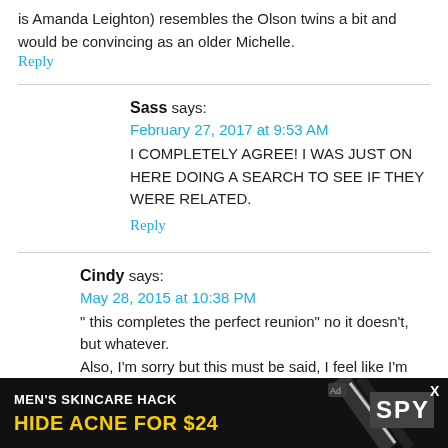is Amanda Leighton) resembles the Olson twins a bit and would be convincing as an older Michelle.
Reply
Sass says:
February 27, 2017 at 9:53 AM
I COMPLETELY AGREE! I WAS JUST ON HERE DOING A SEARCH TO SEE IF THEY WERE RELATED.
Reply
Cindy says:
May 28, 2015 at 10:38 PM
" this completes the perfect reunion" no it doesn't, but whatever.
Also, I'm sorry but this must be said, I feel like I'm the only one defending the Olson twins. Did it ever occur to anyor
[Figure (infographic): Advertisement banner: MEN'S SKINCARE HACK - HIDE ACNE FOR $24 with SPY logo and diagonal line graphic on dark background]